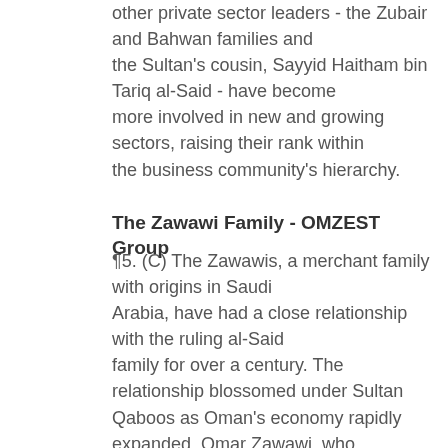other private sector leaders - the Zubair and Bahwan families and the Sultan's cousin, Sayyid Haitham bin Tariq al-Said - have become more involved in new and growing sectors, raising their rank within the business community's hierarchy.
The Zawawi Family - OMZEST Group
¶5. (C) The Zawawis, a merchant family with origins in Saudi Arabia, have had a close relationship with the ruling al-Said family for over a century. The relationship blossomed under Sultan Qaboos as Oman's economy rapidly expanded. Omar Zawawi, who attended Harvard in the 1960s and was trained as a physician and holds an MD, is currently the head of the family